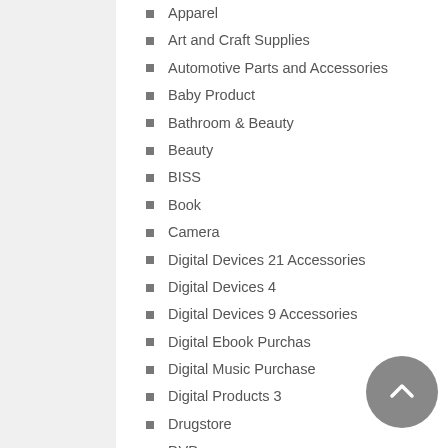Apparel
Art and Craft Supplies
Automotive Parts and Accessories
Baby Product
Bathroom & Beauty
Beauty
BISS
Book
Camera
Digital Devices 21 Accessories
Digital Devices 4
Digital Devices 9 Accessories
Digital Ebook Purchas
Digital Music Purchase
Digital Products 3
Drugstore
DVD